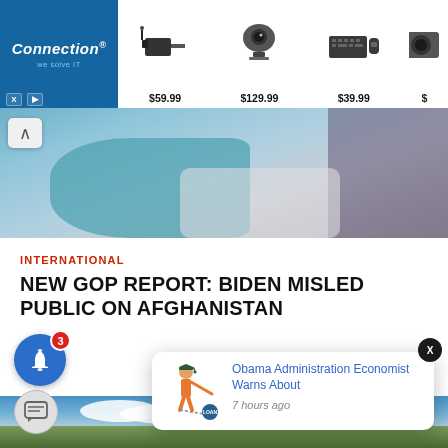[Figure (screenshot): Advertisement banner for 'Connection - we solve IT' showing tech products (adapter, webcam, keyboard) with prices $59.99, $129.99, $39.99]
[Figure (photo): Partial hero image showing person in blue/teal clothing, scrolled partially out of view, with up-arrow navigation button]
INTERNATIONAL
NEW GOP REPORT: BIDEN MISLED PUBLIC ON AFGHANISTAN
[Figure (screenshot): Notification bell icon with blue circle background and red badge showing '3']
[Figure (photo): Landscape painting showing blue sky with white clouds over mountains/fields]
[Figure (screenshot): Push notification popup card: 'Obama Administration Economist Warns About' with illustration of person dragging ball-and-chain labeled LOAN, timestamped '7 hours ago'. Close button X visible.]